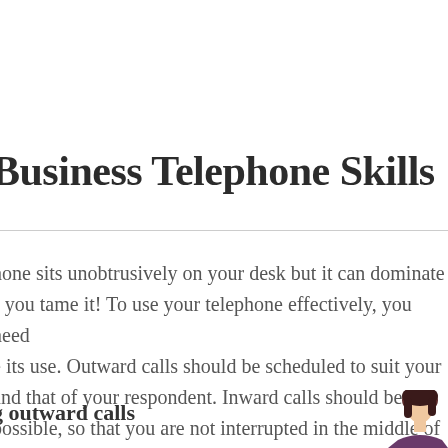Business Telephone Skills
hone sits unobtrusively on your desk but it can dominate s you tame it! To use your telephone effectively, you need e its use. Outward calls should be scheduled to suit your and that of your respondent. Inward calls should be possible, so that you are not interrupted in the middle of k. Once you are using the telephone you need to develop cedures that ensure you get the most out of each call and o not waste time.
g outward calls
[Figure (illustration): Partial illustration of a person with dark hair, appears to be a character illustration cropped at bottom right of page]